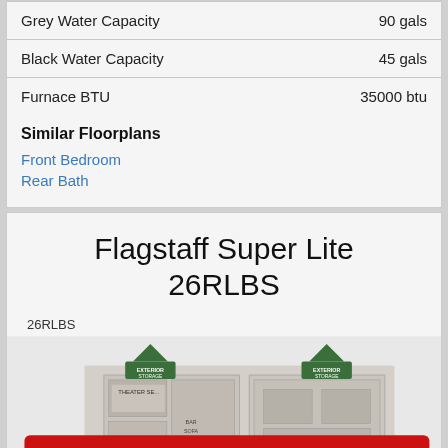| Spec | Value |
| --- | --- |
| Grey Water Capacity | 90 gals |
| Black Water Capacity | 45 gals |
| Furnace BTU | 35000 btu |
Similar Floorplans
Front Bedroom
Rear Bath
Flagstaff Super Lite 26RLBS
26RLBS
[Figure (illustration): Floorplan illustration of Flagstaff Super Lite 26RLBS with exterior storage labels and theater seating area visible, overlaid with a red banner button reading MY RECENTLY VIEWED INVENTORY]